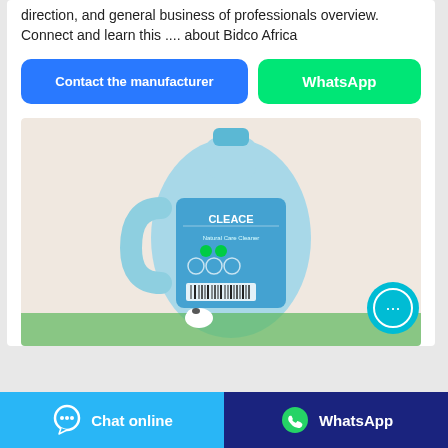direction, and general business of professionals overview. Connect and learn this .... about Bidco Africa
[Figure (other): Blue 'Contact the manufacturer' button and green 'WhatsApp' button]
[Figure (photo): A light blue plastic bottle of Bidco Africa CLEACE detergent/cleaner product on a light background]
[Figure (other): Floating cyan chat bubble button with ellipsis icon]
[Figure (other): Bottom bar with light blue 'Chat online' button (left) and dark blue 'WhatsApp' button (right)]